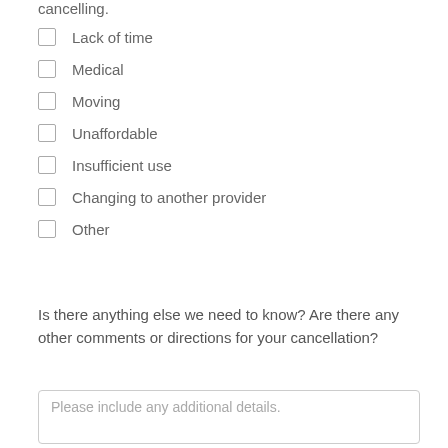cancelling:
Lack of time
Medical
Moving
Unaffordable
Insufficient use
Changing to another provider
Other
Is there anything else we need to know? Are there any other comments or directions for your cancellation?
Please include any additional details.